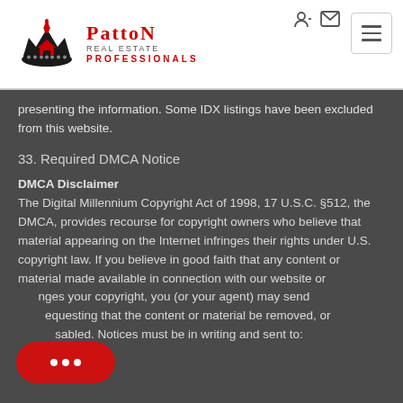[Figure (logo): Patton Real Estate Professionals logo with crown icon and red text]
presenting the information. Some IDX listings have been excluded from this website.
33. Required DMCA Notice
DMCA Disclaimer
The Digital Millennium Copyright Act of 1998, 17 U.S.C. §512, the DMCA, provides recourse for copyright owners who believe that material appearing on the Internet infringes their rights under U.S. copyright law. If you believe in good faith that any content or material made available in connection with our website or infringes your copyright, you (or your agent) may send us requesting that the content or material be removed, or access to it disabled. Notices must be in writing and sent to: